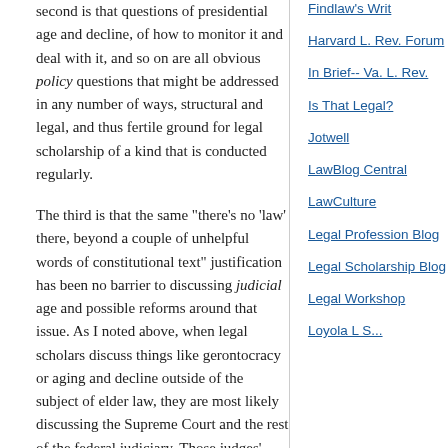second is that questions of presidential age and decline, of how to monitor it and deal with it, and so on are all obvious policy questions that might be addressed in any number of ways, structural and legal, and thus fertile ground for legal scholarship of a kind that is conducted regularly.
The third is that the same "there's no 'law' there, beyond a couple of unhelpful words of constitutional text" justification has been no barrier to discussing judicial age and possible reforms around that issue. As I noted above, when legal scholars discuss things like gerontocracy or aging and decline outside of the subject of elder law, they are most likely discussing the Supreme Court and the rest of the federal judiciary. Those judges' tenure lasts "during good Behavior." They are thus, at least arguably, even less constrained than the post-25th Amendment executive. That does not prevent substantial discussion. A search for the terms "cognitive function" or "cognitive
Findlaw's Writ
Harvard L. Rev. Forum
In Brief-- Va. L. Rev.
Is That Legal?
Jotwell
LawBlog Central
LawCulture
Legal Profession Blog
Legal Scholarship Blog
Legal Workshop
Loyola L S...